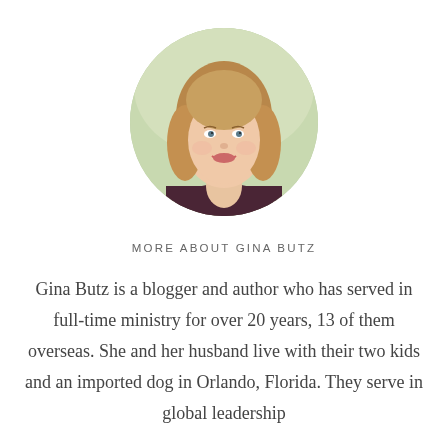[Figure (photo): Circular portrait photo of Gina Butz, a woman with blonde-brown shoulder-length hair, smiling, wearing a dark maroon top, with a soft green outdoor background.]
MORE ABOUT GINA BUTZ
Gina Butz is a blogger and author who has served in full-time ministry for over 20 years, 13 of them overseas. She and her husband live with their two kids and an imported dog in Orlando, Florida. They serve in global leadership